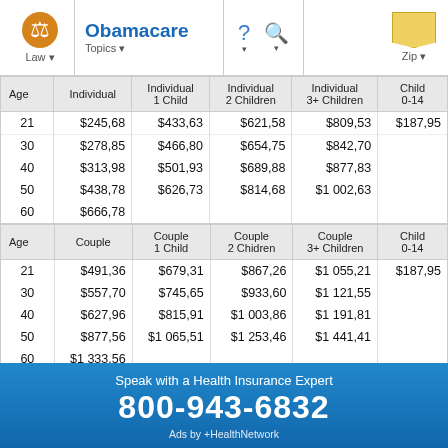Law | Obamacare Topics | ? | Search | Zip
| Age | Individual | Individual
1 Child | Individual
2 Children | Individual
3+ Children | Child
0-14 |
| --- | --- | --- | --- | --- | --- |
| 21 | $245,68 | $433,63 | $621,58 | $809,53 | $187,95 |
| 30 | $278,85 | $466,80 | $654,75 | $842,70 |  |
| 40 | $313,98 | $501,93 | $689,88 | $877,83 |  |
| 50 | $438,78 | $626,73 | $814,68 | $1 002,63 |  |
| 60 | $666,78 |  |  |  |  |
| Age | Couple | Couple
1 Child | Couple
2 Chidren | Couple
3+ Children | Child
0-14 |
| --- | --- | --- | --- | --- | --- |
| 21 | $491,36 | $679,31 | $867,26 | $1 055,21 | $187,95 |
| 30 | $557,70 | $745,65 | $933,60 | $1 121,55 |  |
| 40 | $627,96 | $815,91 | $1 003,86 | $1 191,81 |  |
| 50 | $877,56 | $1 065,51 | $1 253,46 | $1 441,41 |  |
| 60 | $1 333,56 |  |  |  |  |
Speak with a Health Insurance Expert
800-943-6832
Ads by +HealthNetwork